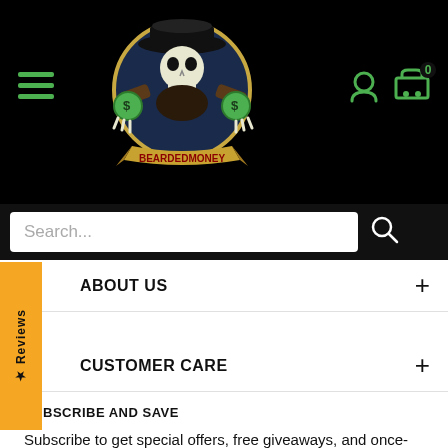[Figure (logo): BeardedMoney branded logo with skull wearing cowboy hat holding money bags, circular dark blue border]
[Figure (other): Hamburger menu icon (three green horizontal lines) on black background]
[Figure (other): User account icon and shopping cart icon with '0' badge, green, on black background]
Search...
ABOUT US
CUSTOMER CARE
Reviews
SUBSCRIBE AND SAVE
Subscribe to get special offers, free giveaways, and once-in-a-lifetime deals.
Your email